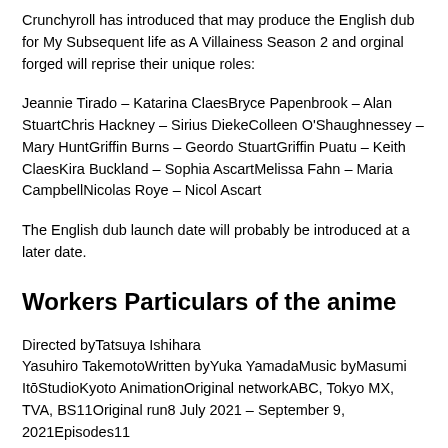Crunchyroll has introduced that may produce the English dub for My Subsequent life as A Villainess Season 2 and orginal forged will reprise their unique roles:
Jeannie Tirado – Katarina ClaesBryce Papenbrook – Alan StuartChris Hackney – Sirius DiekeColleen O'Shaughnessey – Mary HuntGriffin Burns – Geordo StuartGriffin Puatu – Keith ClaesKira Buckland – Sophia AscartMelissa Fahn – Maria CampbellNicolas Roye – Nicol Ascart
The English dub launch date will probably be introduced at a later date.
Workers Particulars of the anime
Directed byTatsuya Ishihara Yasuhiro TakemotoWritten byYuka YamadaMusic byMasumi ItōStudioKyoto AnimationOriginal networkABC, Tokyo MX, TVA, BS11Original run8 July 2021 – September 9, 2021Episodes11
About My Subsequent Life as a Villainess